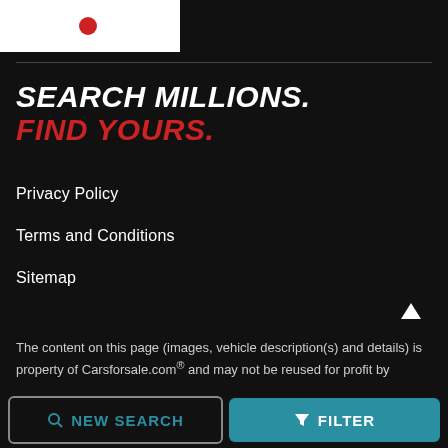[Figure (logo): Carsforsale.com logo partial view on white background]
SEARCH MILLIONS.
FIND YOURS.
Privacy Policy
Terms and Conditions
Sitemap
The content on this page (images, vehicle description(s) and details) is property of Carsforsale.com® and may not be reused for profit by
NEW SEARCH
FILTER